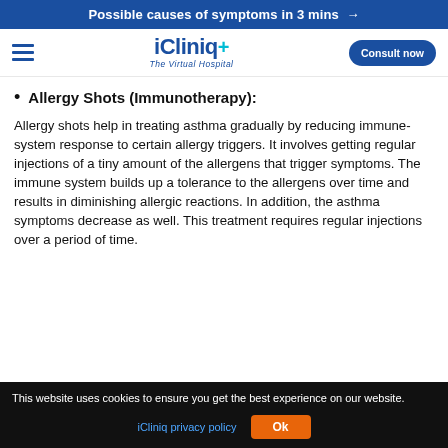Possible causes of symptoms in 3 mins →
[Figure (logo): iCliniq+ The Virtual Hospital logo with hamburger menu and Consult now button]
Allergy Shots (Immunotherapy):
Allergy shots help in treating asthma gradually by reducing immune-system response to certain allergy triggers. It involves getting regular injections of a tiny amount of the allergens that trigger symptoms. The immune system builds up a tolerance to the allergens over time and results in diminishing allergic reactions. In addition, the asthma symptoms decrease as well. This treatment requires regular injections over a period of time.
This website uses cookies to ensure you get the best experience on our website. iCliniq privacy policy  Ok